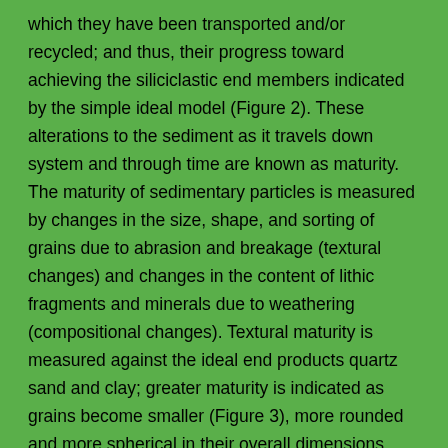which they have been transported and/or recycled; and thus, their progress toward achieving the siliciclastic end members indicated by the simple ideal model (Figure 2). These alterations to the sediment as it travels down system and through time are known as maturity. The maturity of sedimentary particles is measured by changes in the size, shape, and sorting of grains due to abrasion and breakage (textural changes) and changes in the content of lithic fragments and minerals due to weathering (compositional changes). Textural maturity is measured against the ideal end products quartz sand and clay; greater maturity is indicated as grains become smaller (Figure 3), more rounded and more spherical in their overall dimensions (Figure 7), and better sorted (Figure 8). A texturally mature siliciclastic sediment exhibits grains that have been worn down to nearly perfect spheres and sorted to nearly uniform size. A